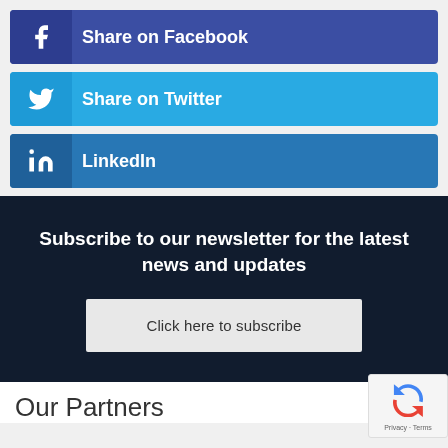Share on Facebook
Share on Twitter
LinkedIn
Subscribe to our newsletter for the latest news and updates
Click here to subscribe
Our Partners
[Figure (logo): reCAPTCHA privacy badge with rotating arrows logo, 'Privacy - Terms' text]